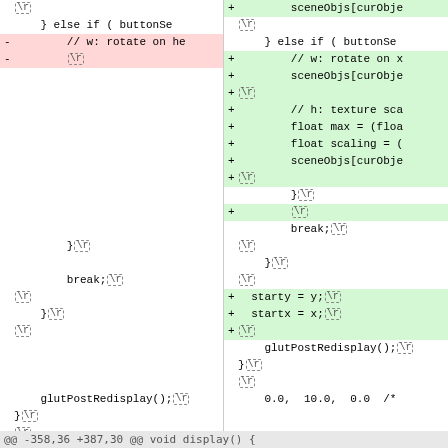[Figure (screenshot): Code diff view showing two columns (before/after) of C/OpenGL source code with red (removed) and green (added) highlighted lines,  carriage return markers, and a hunk header at the bottom.]